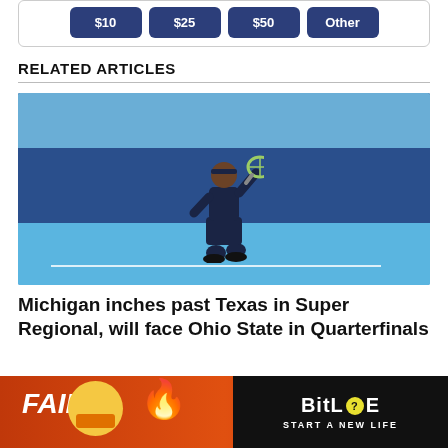[Figure (other): Donation button options: $10, $25, $50, Other — dark blue rounded buttons in a bordered box]
RELATED ARTICLES
[Figure (photo): A tennis player in dark navy outfit hitting a backhand on a blue outdoor tennis court, with blue fence/wall in background]
Michigan inches past Texas in Super Regional, will face Ohio State in Quarterfinals
[Figure (other): Advertisement banner: FAIL graphic on left with cartoon character, BitLife logo and START A NEW LIFE text on dark right side]